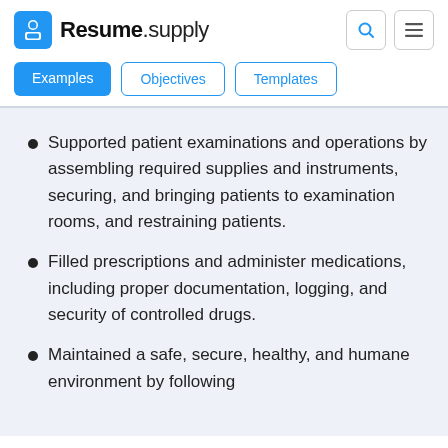Resume.supply
Supported patient examinations and operations by assembling required supplies and instruments, securing, and bringing patients to examination rooms, and restraining patients.
Filled prescriptions and administer medications, including proper documentation, logging, and security of controlled drugs.
Maintained a safe, secure, healthy, and humane environment by following